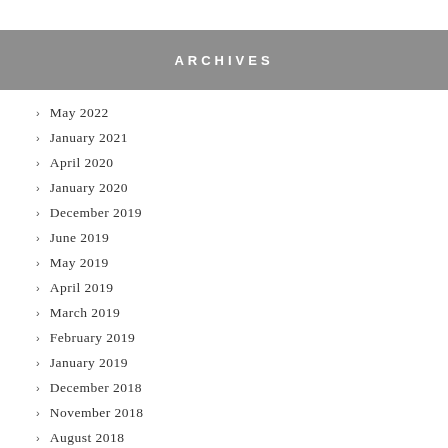ARCHIVES
May 2022
January 2021
April 2020
January 2020
December 2019
June 2019
May 2019
April 2019
March 2019
February 2019
January 2019
December 2018
November 2018
August 2018
July 2018
June 2018
May 2018